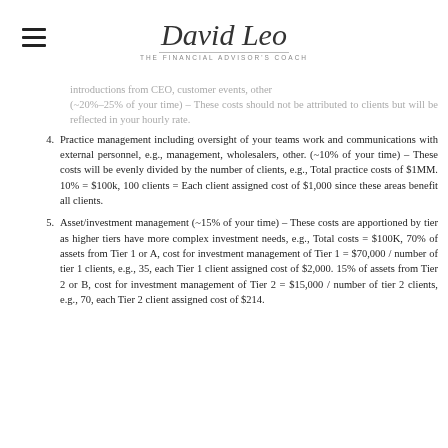David Leo – The Financial Advisor's Coach
introductions from CEO, customer events, other (~20%–25% of your time) – These costs should not be attributed to clients but will be reflected in your hourly rate.
4. Practice management including oversight of your teams work and communications with external personnel, e.g., management, wholesalers, other. (~10% of your time) – These costs will be evenly divided by the number of clients, e.g., Total practice costs of $1MM. 10% = $100k, 100 clients = Each client assigned cost of $1,000 since these areas benefit all clients.
5. Asset/investment management (~15% of your time) – These costs are apportioned by tier as higher tiers have more complex investment needs, e.g., Total costs = $100K, 70% of assets from Tier 1 or A, cost for investment management of Tier 1 = $70,000 / number of tier 1 clients, e.g., 35, each Tier 1 client assigned cost of $2,000. 15% of assets from Tier 2 or B, cost for investment management of Tier 2 = $15,000 / number of tier 2 clients, e.g., 70, each Tier 2 client assigned cost of $214.